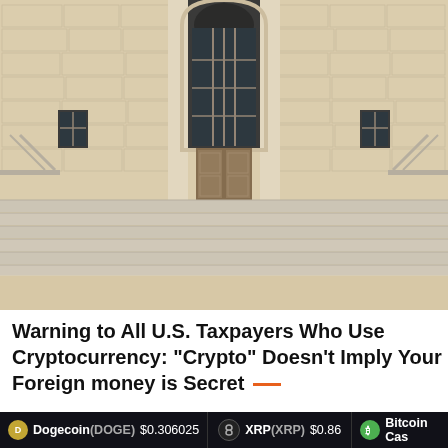[Figure (photo): Exterior facade of a large government building (likely IRS or federal building) with beige stone masonry, arched window above central entrance, ornate columns, and wide stone steps leading to wooden entry doors.]
Warning to All U.S. Taxpayers Who Use Cryptocurrency: "Crypto" Doesn't Imply Your Foreign money is Secret —
Dogecoin(DOGE) $0.306025   XRP(XRP) $0.86   Bitcoin Cash